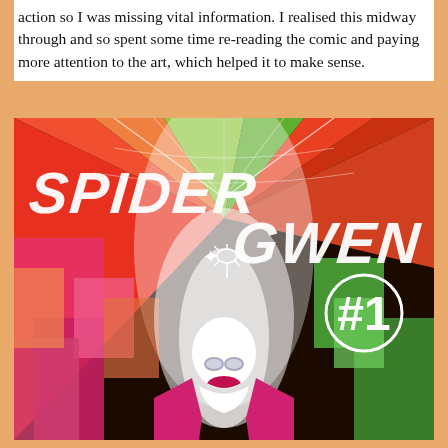action so I was missing vital information. I realised this midway through and so spent some time re-reading the comic and paying more attention to the art, which helped it to make sense.
[Figure (illustration): Cover of Spider-Gwen #1 comic book. Colorful abstract background with rays of red, orange, green, and other colors emanating from the center. Large stylized white handwritten text reads 'SPIDER GWEN' with a spider symbol between the words. A '#1' badge appears in the lower right area. Spider-Gwen character in white hood and spider-themed costume is shown in the lower center of the image.]